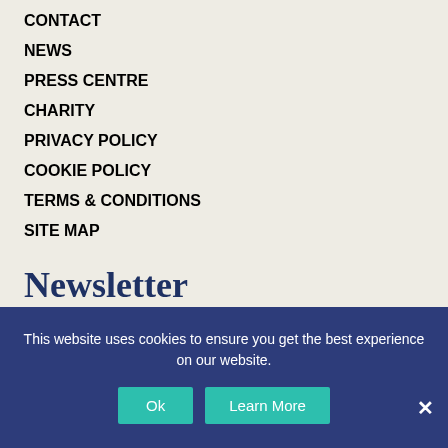CONTACT
NEWS
PRESS CENTRE
CHARITY
PRIVACY POLICY
COOKIE POLICY
TERMS & CONDITIONS
SITE MAP
Newsletter
Sign up for our newsletters and get the latest updates from around the business, including recipes, special offers, news from around the farm and much more....
This website uses cookies to ensure you get the best experience on our website.